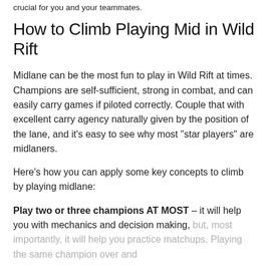crucial for you and your teammates.
How to Climb Playing Mid in Wild Rift
Midlane can be the most fun to play in Wild Rift at times. Champions are self-sufficient, strong in combat, and can easily carry games if piloted correctly. Couple that with excellent carry agency naturally given by the position of the lane, and it’s easy to see why most “star players” are midlaners.
Here’s how you can apply some key concepts to climb by playing midlane:
Play two or three champions AT MOST – it will help you with mechanics and decision making, but, most importantly, it will help you practice matchups. Playing the same champion over and